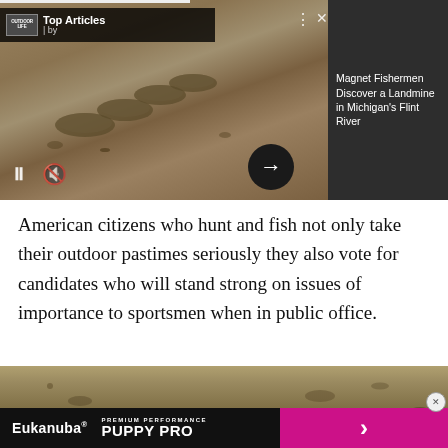[Figure (photo): Top articles panel showing landmines on sandy ground with Outdoor Life logo, 'Top Articles by' label, navigation controls, and article title 'Magnet Fishermen Discover a Landmine in Michigan's Flint River' on dark background]
American citizens who hunt and fish not only take their outdoor pastimes seriously they also vote for candidates who will stand strong on issues of importance to sportsmen when in public office.
[Figure (photo): Close-up photo of sandy, rocky ground — same terrain as the top image]
[Figure (infographic): Eukanuba advertisement banner: 'Eukanuba® PREMIUM PERFORMANCE PUPPY PRO' with pink arrow on dark background]